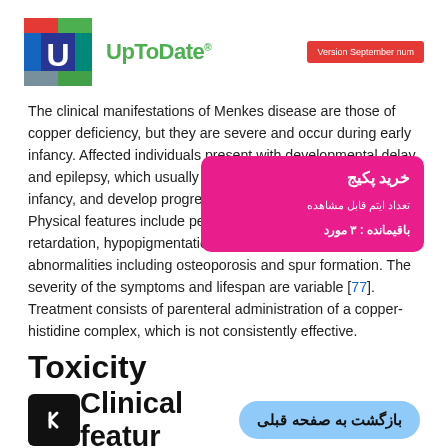[Figure (logo): UpToDate logo with colored U icon and version badge reading 'Version September num']
The clinical manifestations of Menkes disease are those of copper deficiency, but they are severe and occur during early infancy. Affected individuals present with developmental delay and epilepsy, which usually becomes apparent during early infancy, and develop progressive neurologic symptoms. Physical features include peculiar "kinky" hair, growth retardation, hypopigmentation of the skin, and bony abnormalities including osteoporosis and spur formation. The severity of the symptoms and lifespan are variable [77]. Treatment consists of parenteral administration of a copper-histidine complex, which is not consistently effective.
Toxicity
Clinical features
poisoning in humans causes gastrointestinal symptoms,